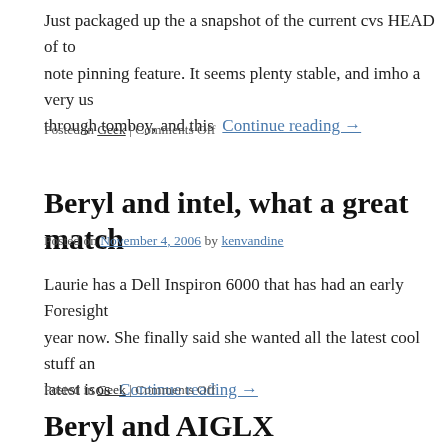Just packaged up the a snapshot of the current cvs HEAD of tom… note pinning feature. It seems plenty stable, and imho a very use… through tomboy, and this … Continue reading →
Posted in Geek | Comments Off
Beryl and intel, what a great match
Posted on November 4, 2006 by kenvandine
Laurie has a Dell Inspiron 6000 that has had an early Foresight … year now. She finally said she wanted all the latest cool stuff an… latest isos … Continue reading →
Posted in Geek | Comments Off
Beryl and AIGLX
Posted on November 1, 2006 by kenvandine